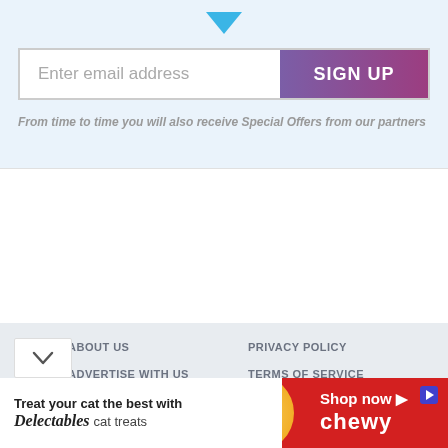[Figure (other): Blue downward chevron/arrow icon at top center of page]
Enter email address
SIGN UP
From time to time you will also receive Special Offers from our partners
ABOUT US
ADVERTISE WITH US
CONTACT US
COLUMNISTS
CONTRIBUTORS
PRIVACY POLICY
TERMS OF SERVICE
DO NOT SELL MY DATA
UNSUBSCRIBE FROM NOTIFICATIONS
[Figure (other): Chewy advertisement banner: Treat your cat the best with Delectables cat treats, Shop now, chewy logo on red background with cat image and yellow circle]